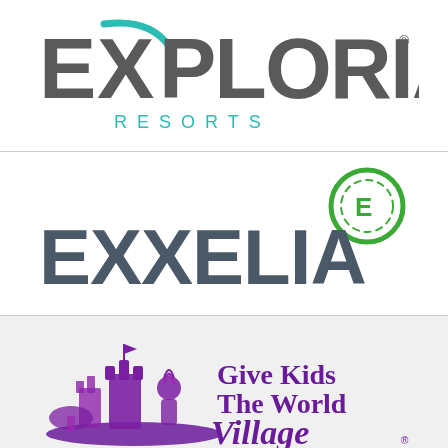[Figure (logo): Exploria Resorts logo — large grey stylized text 'EXPLORIA' with a teal swoosh accent on the X, registered trademark symbol, and 'RESORTS' in teal spaced capitals below]
[Figure (logo): Exxelia logo — large grey bold text 'EXXELIA' with a green circular icon containing the letter E in the upper right]
[Figure (logo): Give Kids The World Village logo — purple illustrated castle/characters with text 'Give Kids The World Village' in purple script and serif fonts]